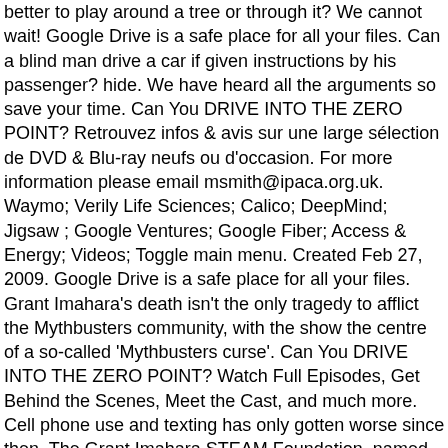better to play around a tree or through it? We cannot wait! Google Drive is a safe place for all your files. Can a blind man drive a car if given instructions by his passenger? hide. We have heard all the arguments so save your time. Can You DRIVE INTO THE ZERO POINT? Retrouvez infos & avis sur une large sélection de DVD & Blu-ray neufs ou d'occasion. For more information please email msmith@ipaca.org.uk. Waymo; Verily Life Sciences; Calico; DeepMind; Jigsaw ; Google Ventures; Google Fiber; Access & Energy; Videos; Toggle main menu. Created Feb 27, 2009. Google Drive is a safe place for all your files. Grant Imahara's death isn't the only tragedy to afflict the Mythbusters community, with the show the centre of a so-called 'Mythbusters curse'. Can You DRIVE INTO THE ZERO POINT? Watch Full Episodes, Get Behind the Scenes, Meet the Cast, and much more. Cell phone use and texting has only gotten worse since then. The Grant Imahara STEAM Foundation, named after the late "MythBusters" engineer, will support students involved in science, tech, engineering, art and math. Now that story we can test.... even if it isn't true we will find a way to accelarate it to destruction. 3. share. Everybody sees it and frowns upon it but they do it anyway. Saved from google.com. Can an explosion in a gopher hole cause a golf ball near the edge of the hole to fall in? Adam